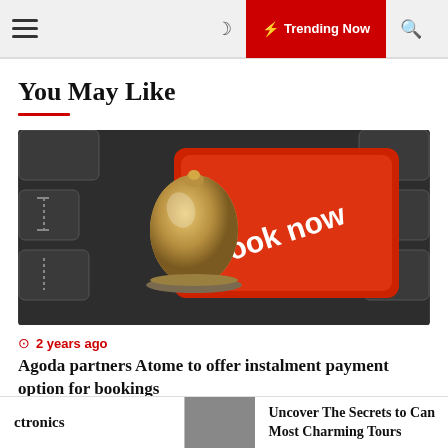≡  🌙  ⚡ Trending Now  🔍
You May Like
[Figure (photo): Close-up of a keyboard with a red 'Book now' key and a hotel service bell sitting on top of it]
2 years ago
Agoda partners Atome to offer instalment payment option for bookings
ctronics | [grey box] | Uncover The Secrets to Can... Most Charming Tours